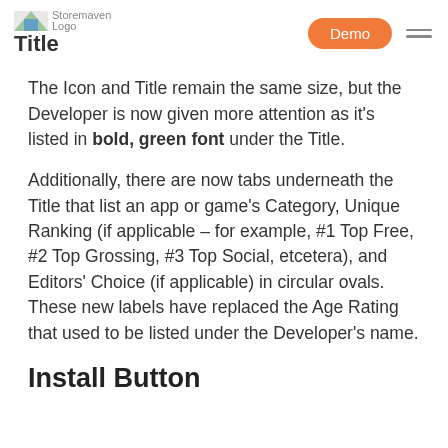Storemaven Logo | Title | Demo
The Icon and Title remain the same size, but the Developer is now given more attention as it's listed in bold, green font under the Title.
Additionally, there are now tabs underneath the Title that list an app or game's Category, Unique Ranking (if applicable – for example, #1 Top Free, #2 Top Grossing, #3 Top Social, etcetera), and Editors' Choice (if applicable) in circular ovals. These new labels have replaced the Age Rating that used to be listed under the Developer's name.
Install Button